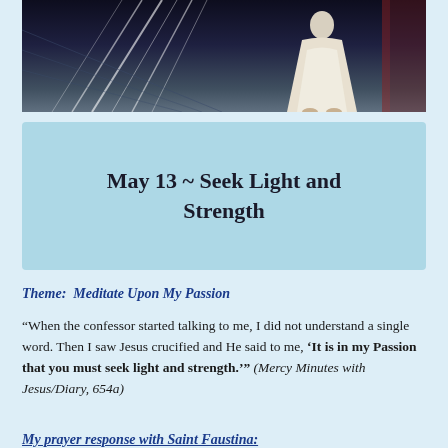[Figure (illustration): Religious illustration showing a figure in white robes with light rays, dark dramatic background]
May 13 ~ Seek Light and Strength
Theme:  Meditate Upon My Passion
“When the confessor started talking to me, I did not understand a single word. Then I saw Jesus crucified and He said to me, ‘It is in my Passion that you must seek light and strength.’” (Mercy Minutes with Jesus/Diary, 654a)
My prayer response with Saint Faustina: